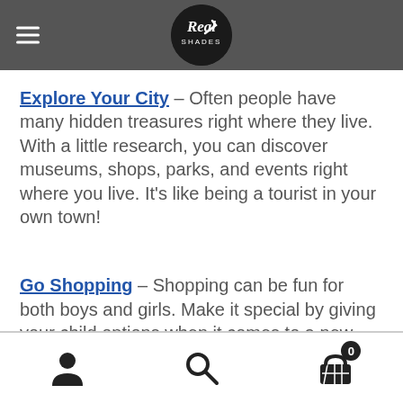Real Shades – navigation header
Explore Your City – Often people have many hidden treasures right where they live. With a little research, you can discover museums, shops, parks, and events right where you live. It's like being a tourist in your own town!
Go Shopping – Shopping can be fun for both boys and girls. Make it special by giving your child options when it comes to a new outfit, or help them save up for a new toy or game and reward them with a one-on-one shopping trip once they have enough
Navigation icons: user, search, cart (0)